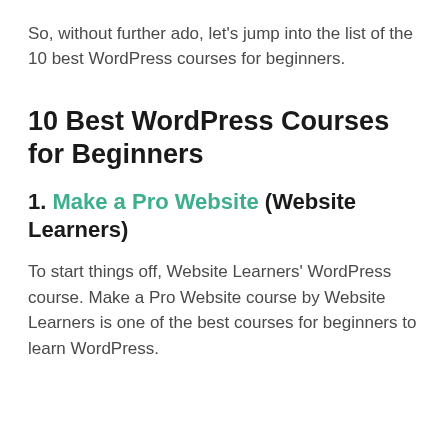So, without further ado, let’s jump into the list of the 10 best WordPress courses for beginners.
10 Best WordPress Courses for Beginners
1. Make a Pro Website (Website Learners)
To start things off, Website Learners’ WordPress course. Make a Pro Website course by Website Learners is one of the best courses for beginners to learn WordPress.